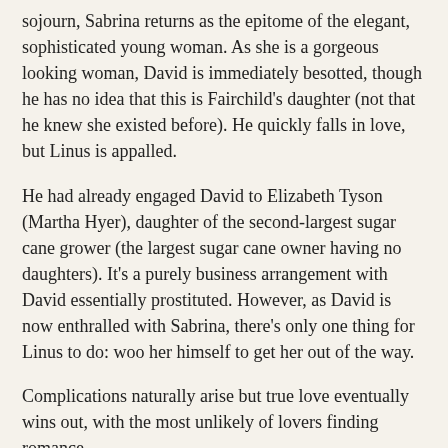sojourn, Sabrina returns as the epitome of the elegant, sophisticated young woman. As she is a gorgeous looking woman, David is immediately besotted, though he has no idea that this is Fairchild's daughter (not that he knew she existed before). He quickly falls in love, but Linus is appalled.
He had already engaged David to Elizabeth Tyson (Martha Hyer), daughter of the second-largest sugar cane grower (the largest sugar cane owner having no daughters). It's a purely business arrangement with David essentially prostituted. However, as David is now enthralled with Sabrina, there's only one thing for Linus to do: woo her himself to get her out of the way.
Complications naturally arise but true love eventually wins out, with the most unlikely of lovers finding romance.
After I finished Sabrina, I had a few thoughts, none of which made me think of it as a love story. My major takeaway from Sabrina is that she really is not only better off without both Linus and David but that she really should be too smart for all this. If one thinks on it, both Linus and David are rather horrible people, and for that matter Sabrina is shockingly dimwitted.